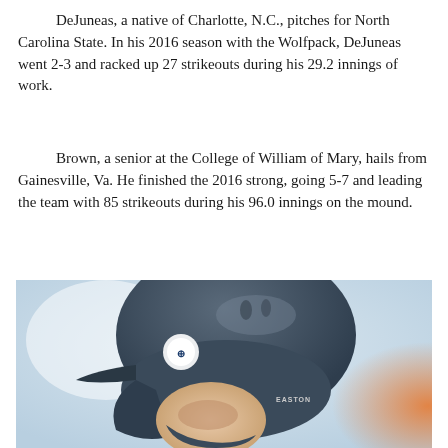DeJuneas, a native of Charlotte, N.C., pitches for North Carolina State. In his 2016 season with the Wolfpack, DeJuneas went 2-3 and racked up 27 strikeouts during his 29.2 innings of work.
Brown, a senior at the College of William of Mary, hails from Gainesville, Va. He finished the 2016 strong, going 5-7 and leading the team with 85 strikeouts during his 96.0 innings on the mound.
[Figure (photo): Close-up photo of a baseball player wearing a dark grey/navy Easton batting helmet, with blurred background showing white and orange colors.]